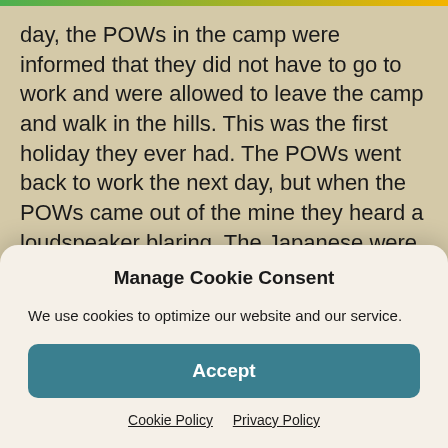day, the POWs in the camp were informed that they did not have to go to work and were allowed to leave the camp and walk in the hills. This was the first holiday they ever had. The POWs went back to work the next day, but when the POWs came out of the mine they heard a loudspeaker blaring. The Japanese were standing around crying. When the next group of POWs arrived at the mine, instead of going to work, they were told to sit down and wait. They were later told they should return to the camp. That night when they were fed, they noticed the amount of food given to them had increased. They also each
Manage Cookie Consent
We use cookies to optimize our website and our service.
Accept
Cookie Policy   Privacy Policy